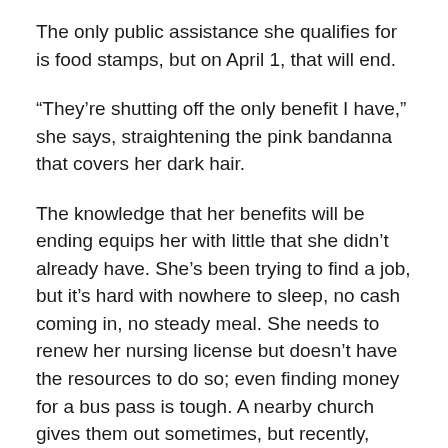The only public assistance she qualifies for is food stamps, but on April 1, that will end.
“They’re shutting off the only benefit I have,” she says, straightening the pink bandanna that covers her dark hair.
The knowledge that her benefits will be ending equips her with little that she didn’t already have. She’s been trying to find a job, but it’s hard with nowhere to sleep, no cash coming in, no steady meal. She needs to renew her nursing license but doesn’t have the resources to do so; even finding money for a bus pass is tough. A nearby church gives them out sometimes, but recently, they’ve run out, she says.
This dilemma is a common one facing people in many states, including Arkansas, which have high poverty rates but little assistance for people trying to get out of poverty.